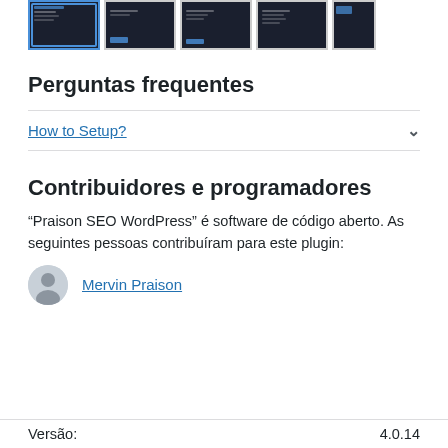[Figure (screenshot): Row of plugin screenshots/thumbnails at the top of the page]
Perguntas frequentes
How to Setup?
Contribuidores e programadores
“Praison SEO WordPress” é software de código aberto. As seguintes pessoas contribuíram para este plugin:
Mervin Praison
Versão:	4.0.14